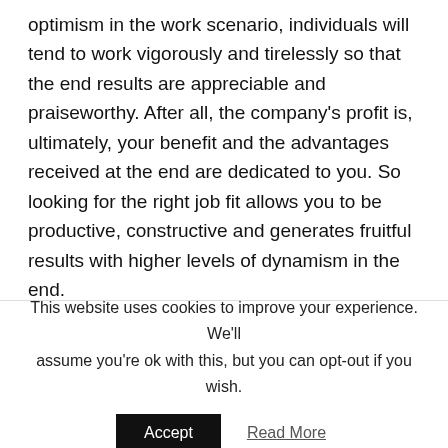optimism in the work scenario, individuals will tend to work vigorously and tirelessly so that the end results are appreciable and praiseworthy. After all, the company's profit is, ultimately, your benefit and the advantages received at the end are dedicated to you. So looking for the right job fit allows you to be productive, constructive and generates fruitful results with higher levels of dynamism in the end.
Elevation of motivation
This website uses cookies to improve your experience. We'll assume you're ok with this, but you can opt-out if you wish.